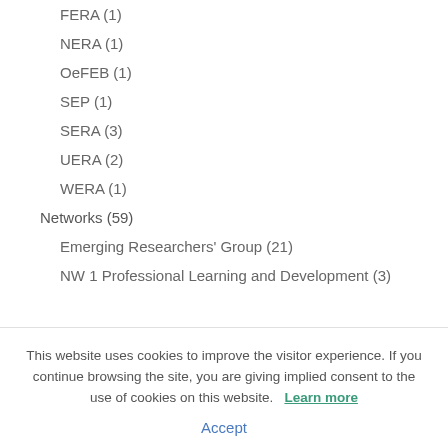FERA (1)
NERA (1)
OeFEB (1)
SEP (1)
SERA (3)
UERA (2)
WERA (1)
Networks (59)
Emerging Researchers' Group (21)
NW 1 Professional Learning and Development (3)
This website uses cookies to improve the visitor experience. If you continue browsing the site, you are giving implied consent to the use of cookies on this website. Learn more
Accept